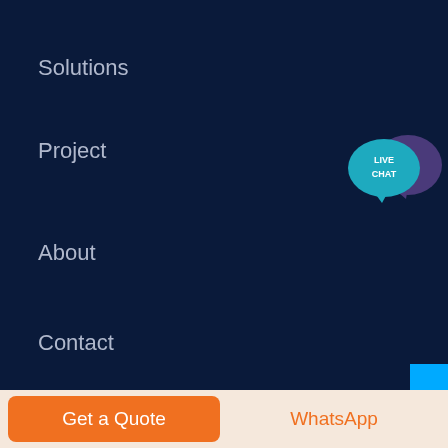Solutions
Project
About
Contact
[Figure (illustration): Live Chat speech bubble icon with teal foreground bubble labeled LIVE CHAT and purple background bubble]
OUR PRODUCTS
Hammer Crusher
Hydraulic-driven Track Mobile Plant
Magnetic Separation Machine
Get a Quote   WhatsApp